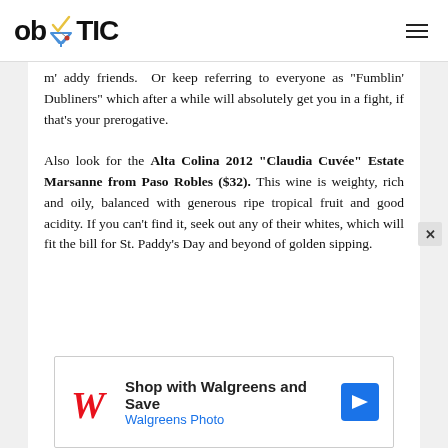ob TIC
m' addy friends. Or keep referring to everyone as “Fumblin’ Dubliners” which after a while will absolutely get you in a fight, if that’s your prerogative.
Also look for the Alta Colina 2012 “Claudia Cuvée” Estate Marsanne from Paso Robles ($32). This wine is weighty, rich and oily, balanced with generous ripe tropical fruit and good acidity. If you can’t find it, seek out any of their whites, which will fit the bill for St. Paddy’s Day and beyond of golden sipping.
[Figure (other): Walgreens advertisement banner: Shop with Walgreens and Save, Walgreens Photo]